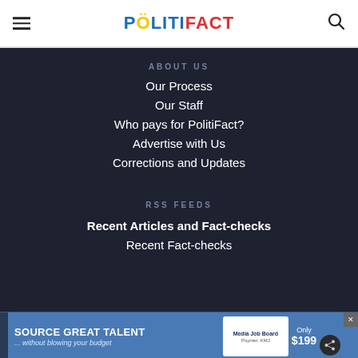POLITIFACT
ABOUT US
Our Process
Our Staff
Who pays for PolitiFact?
Advertise with Us
Corrections and Updates
RSS FEEDS
Recent Articles and Fact-checks
Recent Fact-checks
[Figure (other): Advertisement banner: SOURCE GREAT TALENT ...without blowing your budget, Media Job Board, Only $199]